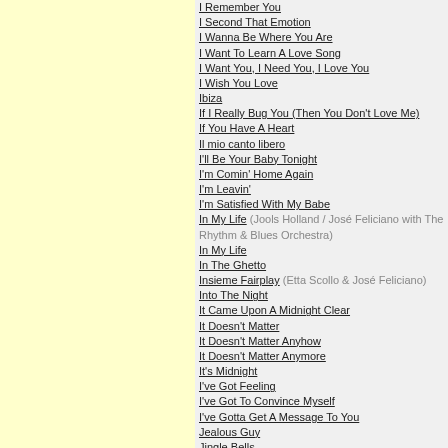I Remember You
I Second That Emotion
I Wanna Be Where You Are
I Want To Learn A Love Song
I Want You, I Need You, I Love You
I Wish You Love
Ibiza
If I Really Bug You (Then You Don't Love Me)
If You Have A Heart
Il mio canto libero
I'll Be Your Baby Tonight
I'm Comin' Home Again
I'm Leavin'
I'm Satisfied With My Babe
In My Life (Jools Holland / José Feliciano with The Rhythm & Blues Orchestra)
In My Life
In The Ghetto
Insieme Fairplay (Etta Scollo & José Feliciano)
Into The Night
It Came Upon A Midnight Clear
It Doesn't Matter
It Doesn't Matter Anyhow
It Doesn't Matter Anymore
It's Midnight
I've Got Feeling
I've Got To Convince Myself
I've Gotta Get A Message To You
Jealous Guy
Jingle Bells
Just A Little Bit Of Rain
Just To Be Home With You (Jools Holland / José Feliciano with The Rhythm & Blues Orchestra)
La balada del pianista
La Bamba
La barca
La canción de mis recuerdos
La canzona del sole